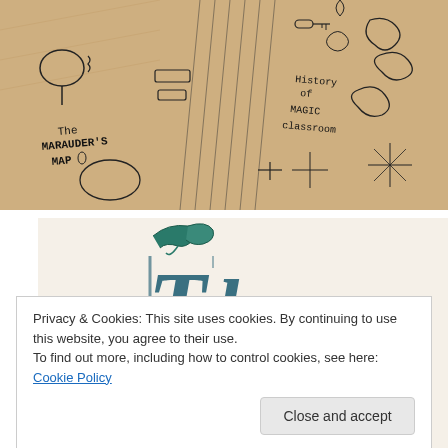[Figure (photo): Hand-drawn sketch resembling the Marauder's Map from Harry Potter, showing 'The Marauder's Map' text and 'History of Magic Classroom' label, with various illustrated rooms and corridors on aged parchment-colored paper.]
[Figure (photo): Close-up photo of decorative calligraphic/stylized text in teal/dark blue color, showing the beginning of an ornate word 'The' on white/cream paper.]
Privacy & Cookies: This site uses cookies. By continuing to use this website, you agree to their use.
To find out more, including how to control cookies, see here: Cookie Policy
Close and accept